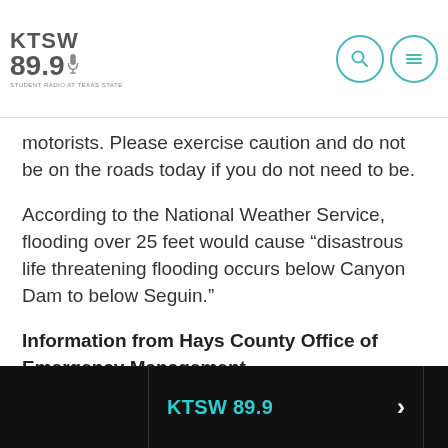KTSW 89.9
motorists. Please exercise caution and do not be on the roads today if you do not need to be.
According to the National Weather Service, flooding over 25 feet would cause “disastrous life threatening flooding occurs below Canyon Dam to below Seguin.”
Information from Hays County Office of Emergency Management
Flood Evacuation
Attn: Residents along Cypress Creek, Flite Acres Road & Fulton Ranch Road
Residents in the Wimberley area along Cypress Creek, Flite Acres Rd and Fulton Ranch Rd are being urged to evacuate.
KTSW 89.9